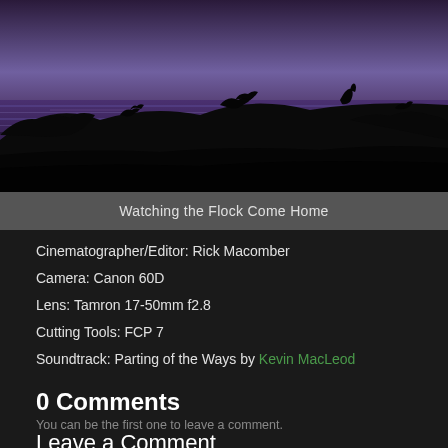[Figure (photo): Silhouette of birds (geese/swans) against a purple twilight sky reflected on water, dark black foreground]
Watching the Flock Come Home
Cinematographer/Editor: Rick Macomber
Camera: Canon 60D
Lens: Tamron 17-50mm f2.8
Cutting Tools: FCP 7
Soundtrack: Parting of the Ways by Kevin MacLeod
0 Comments
You can be the first one to leave a comment.
Leave a Comment